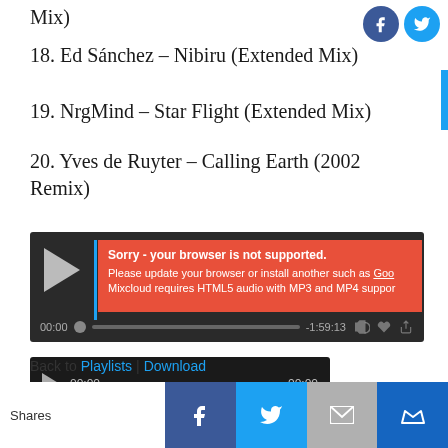Mix)
18. Ed Sánchez – Nibiru (Extended Mix)
19. NrgMind – Star Flight (Extended Mix)
20. Yves de Ruyter – Calling Earth (2002 Remix)
[Figure (screenshot): Mixcloud audio player with red error overlay: 'Sorry - your browser is not supported. Please update your browser or install another such as Goo... Mixcloud requires HTML5 audio with MP3 and MP4 suppor...' Time shown: 00:00 / -1:59:13]
[Figure (screenshot): Simple audio player showing 00:00 / 00:00 with a play button and progress bar on dark background]
Back to Playlists | Download
Shares
[Figure (infographic): Social share bar with Facebook, Twitter, email (grey), and crown (dark blue) buttons]